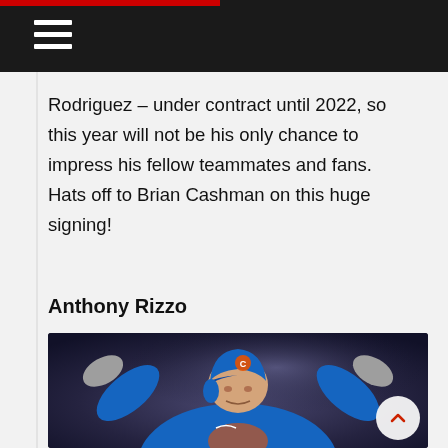Rodriguez – under contract until 2022, so this year will not be his only chance to impress his fellow teammates and fans. Hats off to Brian Cashman on this huge signing!
Anthony Rizzo
[Figure (photo): Anthony Rizzo in a blue Chicago Cubs uniform and helmet, arms raised in celebration, holding a baseball glove]